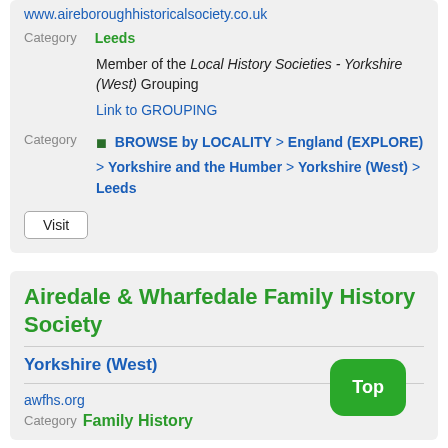www.aireboroughhistoricalsociety.co.uk
Category
Leeds
Member of the Local History Societies - Yorkshire (West) Grouping
Link to GROUPING
Category
BROWSE by LOCALITY > England (EXPLORE) > Yorkshire and the Humber > Yorkshire (West) > Leeds
Visit
Airedale & Wharfedale Family History Society
Yorkshire (West)
awfhs.org
Category  Family History
Top